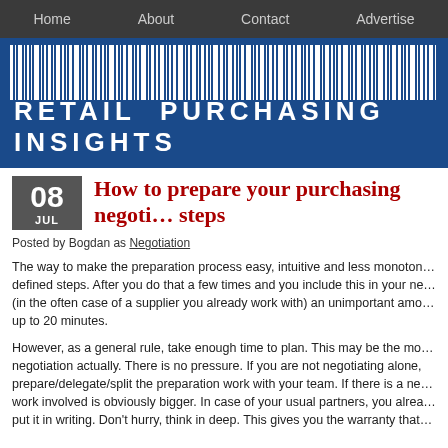Home  About  Contact  Advertise
[Figure (logo): Retail Purchasing Insights banner with barcode graphic and white text on blue background]
How to prepare your purchasing negotiation steps
Posted by Bogdan as Negotiation
The way to make the preparation process easy, intuitive and less monotonous is to break it down into defined steps. After you do that a few times and you include this in your negotiation preparation (in the often case of a supplier you already work with) an unimportant amount of time, maybe up to 20 minutes.
However, as a general rule, take enough time to plan. This may be the most important part of the negotiation actually. There is no pressure. If you are not negotiating alone, prepare/delegate/split the preparation work with your team. If there is a new supplier, the work involved is obviously bigger. In case of your usual partners, you already have data, put it in writing. Don't hurry, think in deep. This gives you the warranty that